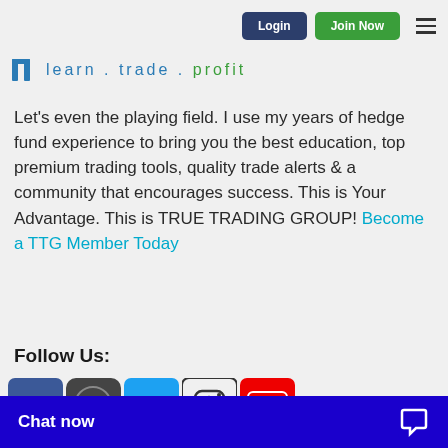Login | Join Now
[Figure (logo): True Trading Group logo icon with tagline 'learn . trade . profit']
Let's even the playing field. I use my years of hedge fund experience to bring you the best education, top premium trading tools, quality trade alerts & a community that encourages success. This is Your Advantage. This is TRUE TRADING GROUP! Become a TTG Member Today
Follow Us:
[Figure (infographic): Social media icons: Facebook, Twitter, Instagram, YouTube]
Chat now